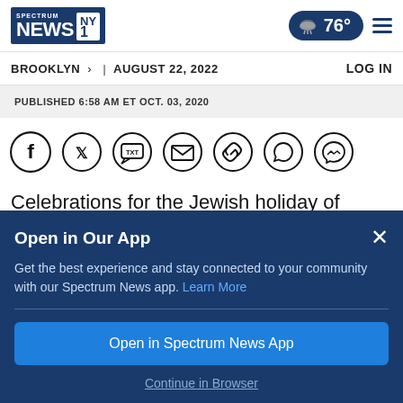Spectrum News NY1 — 76° — Brooklyn | August 22, 2022 — LOG IN
PUBLISHED 6:58 AM ET OCT. 03, 2020
[Figure (illustration): Row of social sharing icons: Facebook, Twitter, SMS/TXT, Email, Link/Copy, WhatsApp, Messenger]
Celebrations for the Jewish holiday of Sukkot got underway Friday
Open in Our App
Get the best experience and stay connected to your community with our Spectrum News app. Learn More
Open in Spectrum News App
Continue in Browser